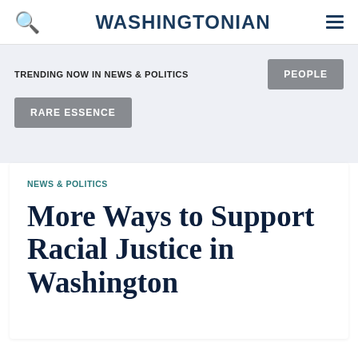WASHINGTONIAN
TRENDING NOW IN NEWS & POLITICS
PEOPLE
RARE ESSENCE
NEWS & POLITICS
More Ways to Support Racial Justice in Washington